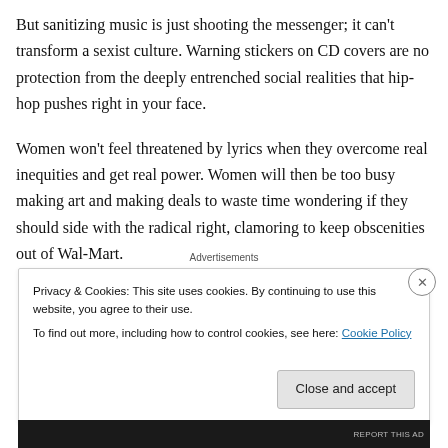But sanitizing music is just shooting the messenger; it can't transform a sexist culture. Warning stickers on CD covers are no protection from the deeply entrenched social realities that hip-hop pushes right in your face.
Women won't feel threatened by lyrics when they overcome real inequities and get real power. Women will then be too busy making art and making deals to waste time wondering if they should side with the radical right, clamoring to keep obscenities out of Wal-Mart.
Advertisements
Privacy & Cookies: This site uses cookies. By continuing to use this website, you agree to their use. To find out more, including how to control cookies, see here: Cookie Policy
Close and accept